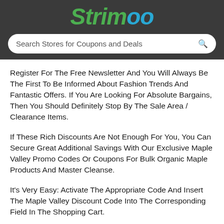Strimoo
Search Stores for Coupons and Deals
Register For The Free Newsletter And You Will Always Be The First To Be Informed About Fashion Trends And Fantastic Offers. If You Are Looking For Absolute Bargains, Then You Should Definitely Stop By The Sale Area / Clearance Items.
If These Rich Discounts Are Not Enough For You, You Can Secure Great Additional Savings With Our Exclusive Maple Valley Promo Codes Or Coupons For Bulk Organic Maple Products And Master Cleanse.
It's Very Easy: Activate The Appropriate Code And Insert The Maple Valley Discount Code Into The Corresponding Field In The Shopping Cart.
On Black Friday And Cyber Week, The Prices On Maple Valley Are Falling. We Are Combining